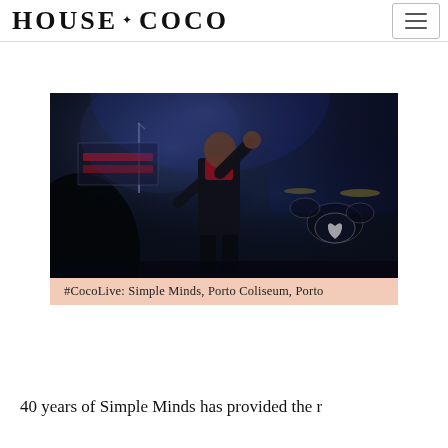HOUSE COCO
[Figure (photo): Concert photo of a performer on stage raising one arm, wearing dark suit and red shirt, with blue stage lighting, drum kit visible on right, and stage screens in background. Porto Coliseum concert.]
#CocoLive: Simple Minds, Porto Coliseum, Porto
40 years of Simple Minds has provided the r